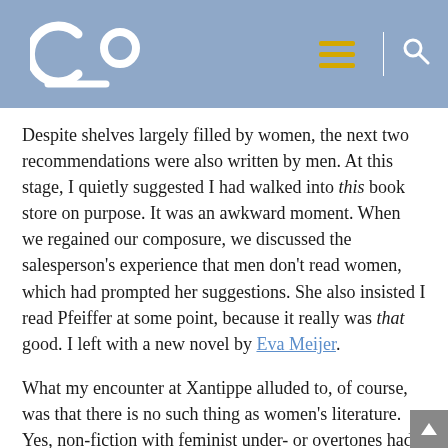Co — website header with logo, hamburger menu, and search icon
Despite shelves largely filled by women, the next two recommendations were also written by men. At this stage, I quietly suggested I had walked into this book store on purpose. It was an awkward moment. When we regained our composure, we discussed the salesperson's experience that men don't read women, which had prompted her suggestions. She also insisted I read Pfeiffer at some point, because it really was that good. I left with a new novel by Eva Meijer.
What my encounter at Xantippe alluded to, of course, was that there is no such thing as women's literature. Yes, non-fiction with feminist under- or overtones had become one of my staples: I read and internalized the voices of Roxane Gay, Joan Didion, Terry Castle, Sisonke Msimang, Zadie Smith, and Maggie Nelson. They gave me a deeper and more nuanced